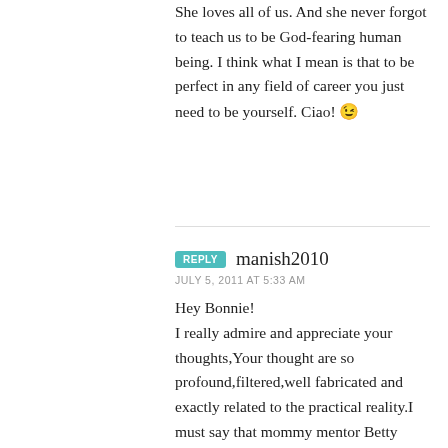She loves all of us. And she never forgot to teach us to be God-fearing human being. I think what I mean is that to be perfect in any field of career you just need to be yourself. Ciao! 😉
manish2010
JULY 5, 2011 AT 5:33 AM

Hey Bonnie!
I really admire and appreciate your thoughts,Your thought are so profound,filtered,well fabricated and exactly related to the practical reality.I must say that mommy mentor Betty gave you a best advice to become a best mommy.I'm 100% agree with you that joy and peace are the best guides for better mothering,because with peace and joy you can actually enjoy the every single moment with your family very well.Thank you for sharing